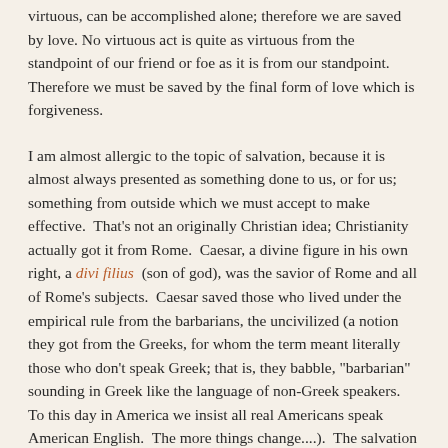virtuous, can be accomplished alone; therefore we are saved by love. No virtuous act is quite as virtuous from the standpoint of our friend or foe as it is from our standpoint. Therefore we must be saved by the final form of love which is forgiveness.
I am almost allergic to the topic of salvation, because it is almost always presented as something done to us, or for us; something from outside which we must accept to make effective. That's not an originally Christian idea; Christianity actually got it from Rome. Caesar, a divine figure in his own right, a divi filius (son of god), was the savior of Rome and all of Rome's subjects. Caesar saved those who lived under the empirical rule from the barbarians, the uncivilized (a notion they got from the Greeks, for whom the term meant literally those who don't speak Greek; that is, they babble, "barbarian" sounding in Greek like the language of non-Greek speakers. To this day in America we insist all real Americans speak American English. The more things change....). The salvation Caesar offered was the Pax Romana, which you refused at your peril (crucifixion being the punishment reserved for those who threatened the Pax).